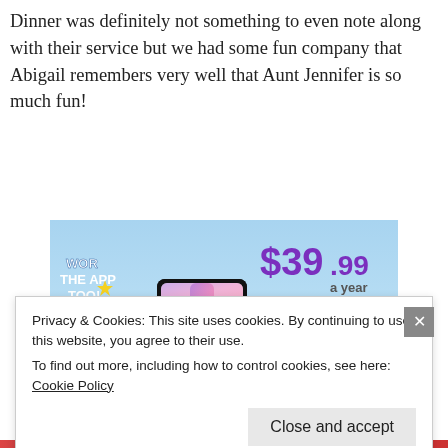Dinner was definitely not something to even note along with their service but we had some fun company that Abigail remembers very well that Aunt Jennifer is so much fun!
[Figure (illustration): Tumblr ad banner with blue sky background showing the Tumblr 't' logo in pink/purple with sparkle stars and text: 'WORK THE APP TOO!' and '$39.99 a year or $4.99 a month + FREE SHIPPING']
Privacy & Cookies: This site uses cookies. By continuing to use this website, you agree to their use.
To find out more, including how to control cookies, see here: Cookie Policy
Close and accept